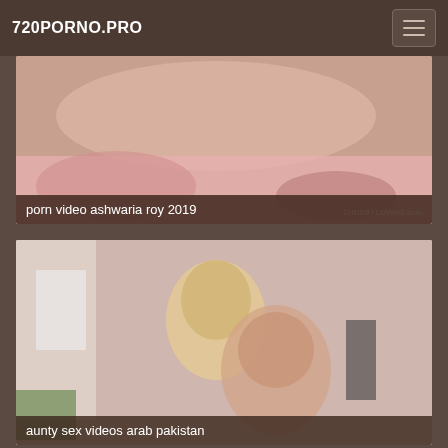720PORNO.PRO
[Figure (photo): Video thumbnail showing adult content on pink bedding with watermark CHUBBYLOVING.com]
porn video ashwaria roy 2019
[Figure (photo): Video thumbnail showing two women in a pink room, one blonde and one brunette]
aunty sex videos arab pakistan